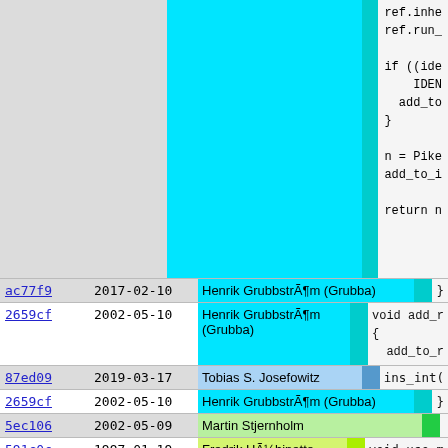[Figure (screenshot): Git blame view showing commit hashes, dates, authors, color-coded columns, and source code snippets from a Pike/C source file.]
| commit | date | author |  | code |
| --- | --- | --- | --- | --- |
| ac77f9 | 2017-02-10 | Henrik GrubbstrÃ¶m (Grubba) |  | } |
| 2659cf | 2002-05-10 | Henrik GrubbstrÃ¶m (Grubba) |  | void add_r
{
  add_to_r |
| 87ed09 | 2019-03-17 | Tobias S. Josefowitz |  | ins_int( |
| 2659cf | 2002-05-10 | Henrik GrubbstrÃ¶m (Grubba) |  | } |
| 5ec106 | 2002-05-09 | Martin Stjernholm |  |  |
| 591c0c | 1997-01-19 | Fredrik HÃ¼binette (Hubbe) |  | void use_m |
| 5267b7 | 1995-08-09 | Fredrik HÃ¼binette (Hubbe) |  | { |
| 5b84a5 | 2008-04-26 | Henrik GrubbstrÃ¶m (Grubba) |  | struct c |